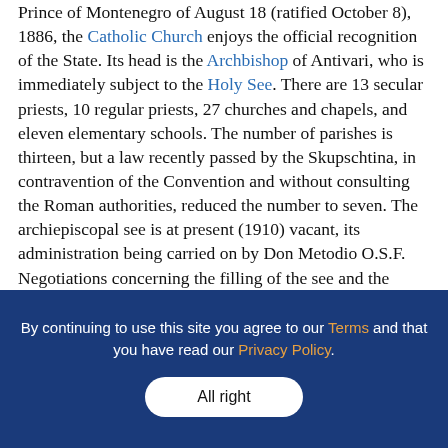Prince of Montenegro of August 18 (ratified October 8), 1886, the Catholic Church enjoys the official recognition of the State. Its head is the Archbishop of Antivari, who is immediately subject to the Holy See. There are 13 secular priests, 10 regular priests, 27 churches and chapels, and eleven elementary schools. The number of parishes is thirteen, but a law recently passed by the Skupschtina, in contravention of the Convention and without consulting the Roman authorities, reduced the number to seven. The archiepiscopal see is at present (1910) vacant, its administration being carried on by Don Metodio O.S.F. Negotiations concerning the filling of the see and the alteration of the Convention are being carried on between the Holy See and the Montenegrin.
By continuing to use this site you agree to our Terms and that you have read our Privacy Policy.
All right